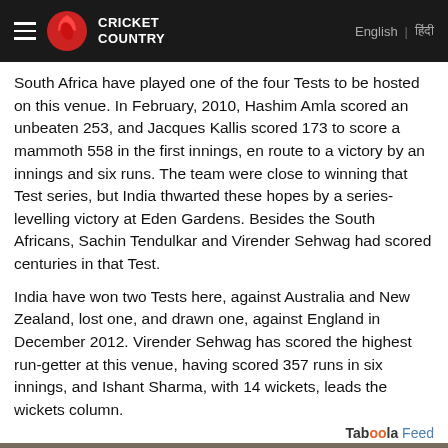Cricket Country | English | हिंदी
South Africa have played one of the four Tests to be hosted on this venue. In February, 2010, Hashim Amla scored an unbeaten 253, and Jacques Kallis scored 173 to score a mammoth 558 in the first innings, en route to a victory by an innings and six runs. The team were close to winning that Test series, but India thwarted these hopes by a series-levelling victory at Eden Gardens. Besides the South Africans, Sachin Tendulkar and Virender Sehwag had scored centuries in that Test.
India have won two Tests here, against Australia and New Zealand, lost one, and drawn one, against England in December 2012. Virender Sehwag has scored the highest run-getter at this venue, having scored 357 runs in six innings, and Ishant Sharma, with 14 wickets, leads the wickets column.
Taboola Feed
[Figure (photo): Dark brownish background image, partially visible]
Uh-Ohs Aren't Worth the Stress | Maaco Auto Body Shop & Painting